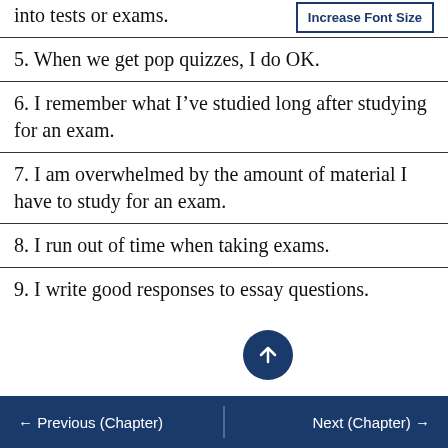into tests or exams.
5. When we get pop quizzes, I do OK.
6. I remember what I've studied long after studying for an exam.
7. I am overwhelmed by the amount of material I have to study for an exam.
8. I run out of time when taking exams.
9. I write good responses to essay questions.
← Previous (Chapter)    Next (Chapter) →